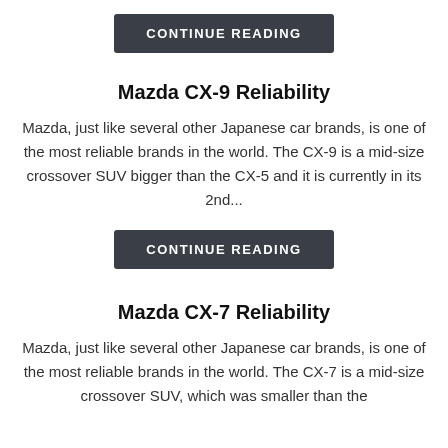CONTINUE READING
Mazda CX-9 Reliability
Mazda, just like several other Japanese car brands, is one of the most reliable brands in the world. The CX-9 is a mid-size crossover SUV bigger than the CX-5 and it is currently in its 2nd...
CONTINUE READING
Mazda CX-7 Reliability
Mazda, just like several other Japanese car brands, is one of the most reliable brands in the world. The CX-7 is a mid-size crossover SUV, which was smaller than the